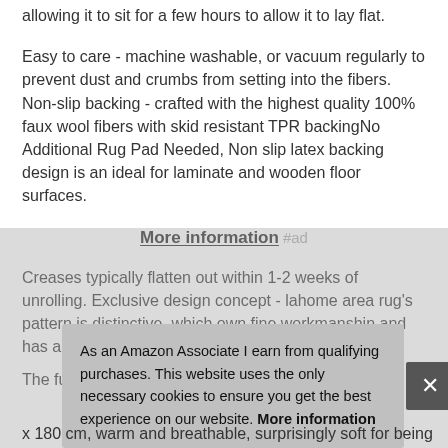allowing it to sit for a few hours to allow it to lay flat.
Easy to care - machine washable, or vacuum regularly to prevent dust and crumbs from setting into the fibers. Non-slip backing - crafted with the highest quality 100% faux wool fibers with skid resistant TPR backingNo Additional Rug Pad Needed, Non slip latex backing design is an ideal for laminate and wooden floor surfaces.
More information #ad
Creases typically flatten out within 1-2 weeks of unrolling. Exclusive design concept - lahome area rug's pattern is distinctive, which own fine workmanshin and has a variety of patt
The fuss x 180 cm, warm and breathable, surprisingly soft for being
As an Amazon Associate I earn from qualifying purchases. This website uses the only necessary cookies to ensure you get the best experience on our website. More information